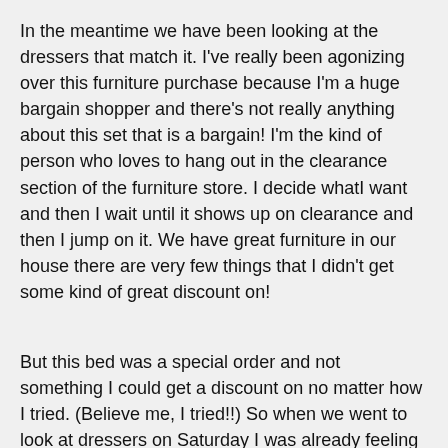In the meantime we have been looking at the dressers that match it. I've really been agonizing over this furniture purchase because I'm a huge bargain shopper and there's not really anything about this set that is a bargain! I'm the kind of person who loves to hang out in the clearance section of the furniture store. I decide whatI want and then I wait until it shows up on clearance and then I jump on it. We have great furniture in our house there are very few things that I didn't get some kind of great discount on!
But this bed was a special order and not something I could get a discount on no matter how I tried. (Believe me, I tried!!) So when we went to look at dressers on Saturday I was already feeling guilty enough over the bed purchase and the dressers were also really expensive. I really really wanted the dresser that matched the bed though, so we sucked it up and ordered it. It was due to be delivered today.
Then last night I was cruising Craigslist (one of my favorite bordom killers!) and lo and behold someone was selling the